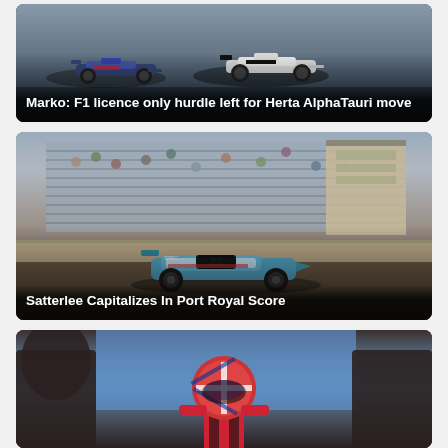[Figure (photo): Two Formula 1 cars racing on track, one white/blue Alpine and one white Haas, viewed from trackside]
Marko: F1 licence only hurdle left for Herta AlphaTauri move
[Figure (photo): Dirt track late model stock car number 22 (teal/white) racing at Port Royal Speedway with grandstands visible in background]
Satterlee Capitalizes In Port Royal Score
[Figure (photo): Racing driver in red and blue helmet with UK flag, partially cropped at bottom of page]